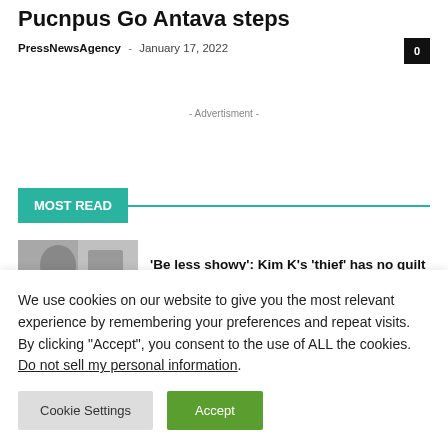Pucnpus Go Antava steps
PressNewsAgency - January 17, 2022
- Advertisment -
MOST READ
'Be less showy': Kim K's 'thief' has no guilt
We use cookies on our website to give you the most relevant experience by remembering your preferences and repeat visits. By clicking "Accept", you consent to the use of ALL the cookies.
Do not sell my personal information.